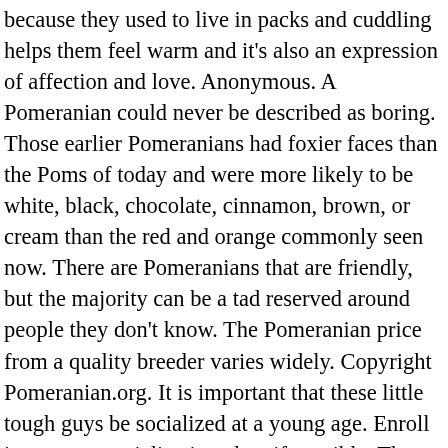because they used to live in packs and cuddling helps them feel warm and it's also an expression of affection and love. Anonymous. A Pomeranian could never be described as boring. Those earlier Pomeranians had foxier faces than the Poms of today and were more likely to be white, black, chocolate, cinnamon, brown, or cream than the red and orange commonly seen now. There are Pomeranians that are friendly, but the majority can be a tad reserved around people they don't know. The Pomeranian price from a quality breeder varies widely. Copyright Pomeranian.org. It is important that these little tough guys be socialized at a young age. Enroll in a puppy socialization class if possible. They will growl and nip when they are frightened. American Kennel Club, 2011.English Kennel Club Pomeranian Breed Standard , 2017.Denise Leo, The Pomeranian Handbook. Poms respond well to training and enjoy learning, so it generally becomes easier to train them as you add new elements to the training regime. However, if you don't set rules for them to follow, they can be naughty. One of the most